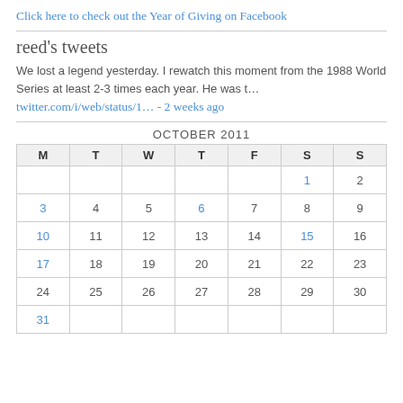Click here to check out the Year of Giving on Facebook
reed's tweets
We lost a legend yesterday. I rewatch this moment from the 1988 World Series at least 2-3 times each year. He was t…
twitter.com/i/web/status/1… - 2 weeks ago
| M | T | W | T | F | S | S |
| --- | --- | --- | --- | --- | --- | --- |
|  |  |  |  |  | 1 | 2 |
| 3 | 4 | 5 | 6 | 7 | 8 | 9 |
| 10 | 11 | 12 | 13 | 14 | 15 | 16 |
| 17 | 18 | 19 | 20 | 21 | 22 | 23 |
| 24 | 25 | 26 | 27 | 28 | 29 | 30 |
| 31 |  |  |  |  |  |  |